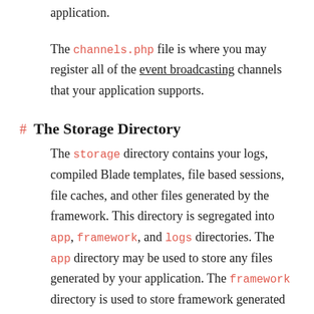application.
The channels.php file is where you may register all of the event broadcasting channels that your application supports.
The Storage Directory
The storage directory contains your logs, compiled Blade templates, file based sessions, file caches, and other files generated by the framework. This directory is segregated into app, framework, and logs directories. The app directory may be used to store any files generated by your application. The framework directory is used to store framework generated files and caches. Finally, the logs directory